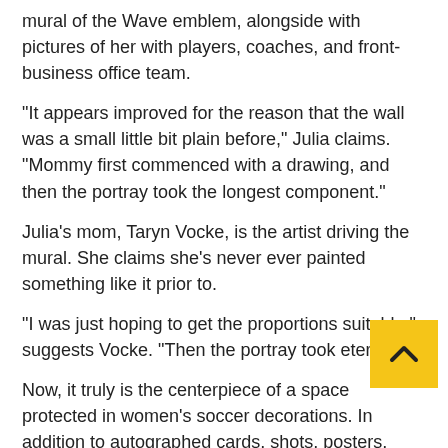mural of the Wave emblem, alongside with pictures of her with players, coaches, and front-business office team.
“It appears improved for the reason that the wall was a small little bit plain before,” Julia claims. “Mommy first commenced with a drawing, and then the portray took the longest component.”
Julia’s mom, Taryn Vocke, is the artist driving the mural. She claims she’s never ever painted something like it prior to.
“I was just hoping to get the proportions suitable,” suggests Vocke. “Then the portray took eternally.”
Now, it truly is the centerpiece of a space protected in women’s soccer decorations. In addition to autographed cards, shots, posters, souvenirs, and group items, Ju also has a wall devoted to a “Flat Julia” doll she despatched to the staff.
The doll received to devote a working day at practice. The